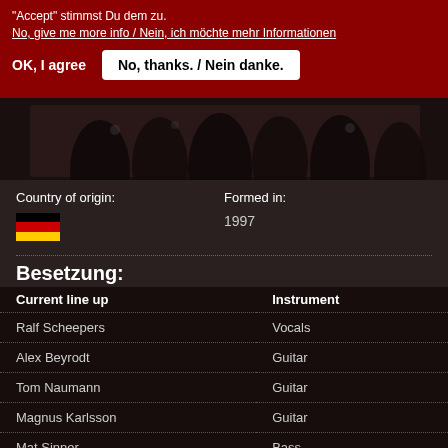"Accept" stimmst Du dem zu.
No, give me more info / Nein, ich möchte mehr Informationen
OK, I agree
No, thanks. / Nein danke.
[Figure (photo): Band photo showing musicians in dark/metal style clothing]
Country of origin:
Formed in:
[Figure (illustration): German flag (black, red, gold stripes)]
1997
Besetzung:
| Current line up | Instrument |
| --- | --- |
| Ralf Scheepers | Vocals |
| Alex Beyrodt | Guitar |
| Tom Naumann | Guitar |
| Magnus Karlsson | Guitar |
| Mat Sinner | Bass |
| Michael Ehré | Drums |
It is 20 years ago since ex-GAMMA RAY singer Ralf Scheepers and multitalent Mat Sinner